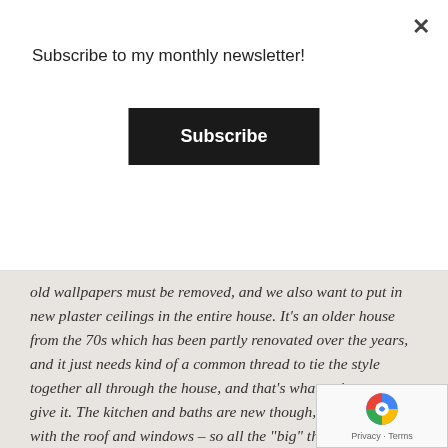Subscribe to my monthly newsletter!
Subscribe
old wallpapers must be removed, and we also want to put in new plaster ceilings in the entire house. It's an older house from the 70s which has been partly renovated over the years, and it just needs kind of a common thread to tie the style together all through the house, and that's what we're gonna give it. The kitchen and baths are new though, same thing with the roof and windows – so all the "big" things are already taken care of which is nice. We've been looking at so many different houses this past year, both houses that were